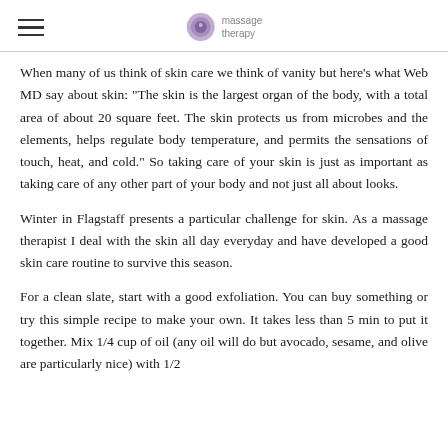massage therapy
When many of us think of skin care we think of vanity but here's what Web MD say about skin: "The skin is the largest organ of the body, with a total area of about 20 square feet. The skin protects us from microbes and the elements, helps regulate body temperature, and permits the sensations of touch, heat, and cold." So taking care of your skin is just as important as taking care of any other part of your body and not just all about looks.
Winter in Flagstaff presents a particular challenge for skin. As a massage therapist I deal with the skin all day everyday and have developed a good skin care routine to survive this season.
For a clean slate, start with a good exfoliation. You can buy something or try this simple recipe to make your own. It takes less than 5 min to put it together. Mix 1/4 cup of oil (any oil will do but avocado, sesame, and olive are particularly nice) with 1/2